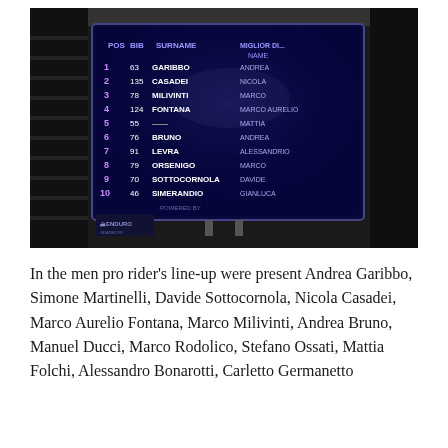[Figure (photo): Photograph of a results scoreboard/screen mounted outdoors at night, showing a race leaderboard with positions 1-10, bib numbers, surnames (GARIBBO, CASADEI, MILIVINTI, FONTANA, BRUNO, LEVRA, ORSENIGO, SOTTOCORNOLA, SIMERANDIO), and first names (ANDREA, NICOLA, MARCO AURELIO, MATTIA, ANDREA, ALESSANDRIO, MARCO, DAVIDE, GIANLUCA). An ENDURO logo is visible in the lower left corner. The screen is dark blue with white/blue text.]
In the men pro rider's line-up were present Andrea Garibbo, Simone Martinelli, Davide Sottocornola, Nicola Casadei, Marco Aurelio Fontana, Marco Milivinti, Andrea Bruno, Manuel Ducci, Marco Rodolico, Stefano Ossati, Mattia Folchi, Alessandro Bonarotti, Carletto Germanetto